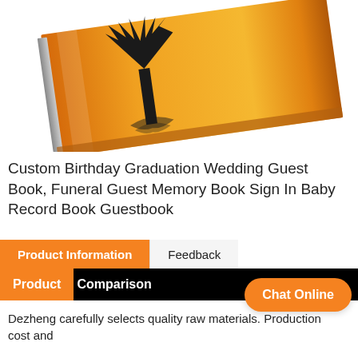[Figure (photo): A tilted orange/golden guest book with black tree silhouette design on the cover, shown at an angle on a white background.]
Custom Birthday Graduation Wedding Guest Book, Funeral Guest Memory Book Sign In Baby Record Book Guestbook
Product Information | Feedback
Product Comparison
Chat Online
Dezheng carefully selects quality raw materials. Production cost and